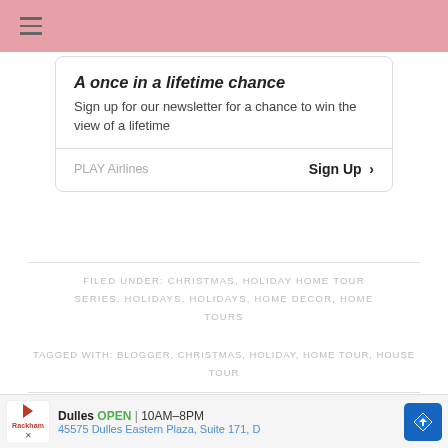A once in a lifetime chance
Sign up for our newsletter for a chance to win the view of a lifetime
PLAY Airlines    Sign Up >
FILED UNDER: CHRISTMAS, HOLIDAY HOME TOUR SERIES, HOLIDAYS, HOLIDAYS, HOME DECOR, HOME TOURS
TAGGED WITH: BLOGGER, CHRISTMAS, HOLIDAY, HOME TOUR, HOUSE TOUR
CON
[Figure (infographic): Bottom advertisement bar showing Dulles store location: OPEN 10AM-8PM, 45575 Dulles Eastern Plaza, Suite 171, D]